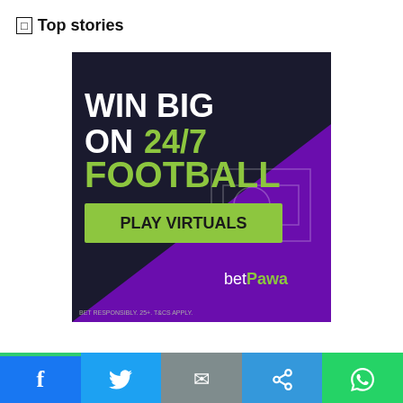🔲 Top stories
[Figure (illustration): betPawa advertisement banner. Dark background with purple triangle. Text reads: WIN BIG ON 24/7 FOOTBALL. Green button: PLAY VIRTUALS. betPawa logo in bottom right. Disclaimer: BET RESPONSIBLY. 25+. T&CS APPLY.]
[Figure (infographic): Social media share bar with Facebook (blue), Twitter (light blue), Email (grey), Link (blue), WhatsApp (green) buttons]